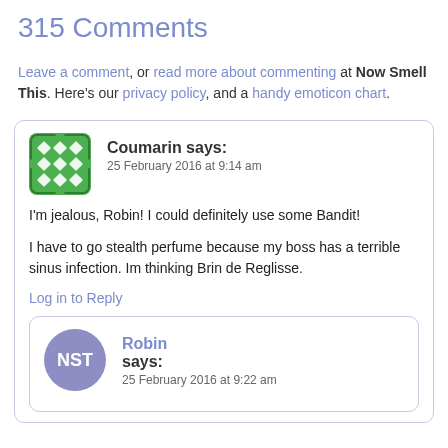315 Comments
Leave a comment, or read more about commenting at Now Smell This. Here's our privacy policy, and a handy emoticon chart.
Coumarin says:
25 February 2016 at 9:14 am

I'm jealous, Robin! I could definitely use some Bandit!

I have to go stealth perfume because my boss has a terrible sinus infection. Im thinking Brin de Reglisse.

Log in to Reply
Robin says:
25 February 2016 at 9:22 am